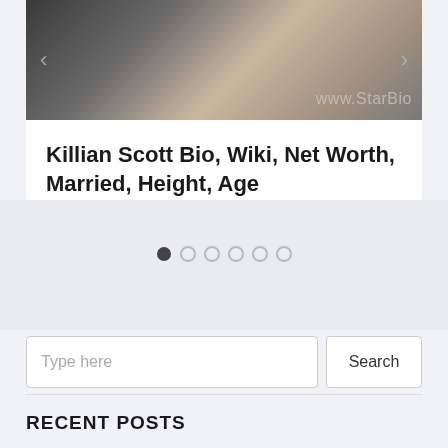[Figure (photo): Partial photo of a person with hand on chin, with watermark text 'www.StarBio' in bottom right corner. Navigation arrows on left and right sides.]
Killian Scott Bio, Wiki, Net Worth, Married, Height, Age
By starbio • February 12, 2019
[Figure (infographic): Slideshow navigation dots: 6 dots, first one filled/active (dark), remaining 5 unfilled (light gray)]
Type here
Search
RECENT POSTS